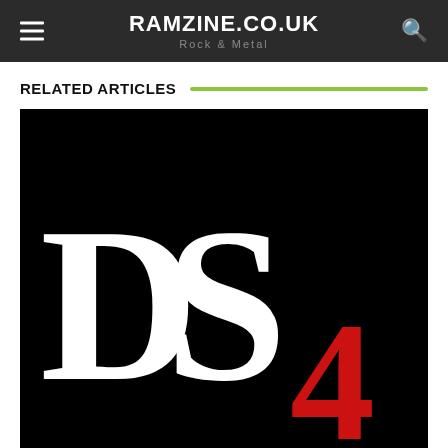RAMZINE.CO.UK Rock & Metal
RELATED ARTICLES
[Figure (logo): DS4 logo — large white serif 'DS' letters with a red '4' on a black background]